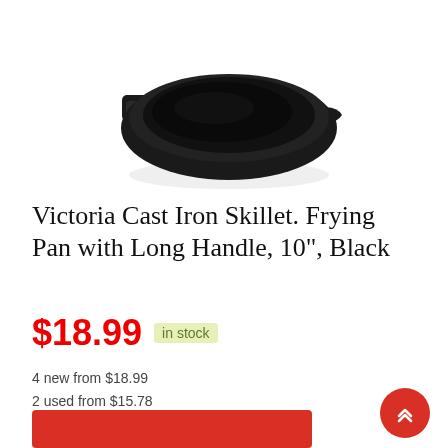[Figure (photo): Black cast iron skillet/frying pan with two handles (one long handle and one helper handle), viewed from slightly above, on a white background.]
Victoria Cast Iron Skillet. Frying Pan with Long Handle, 10", Black
$18.99  in stock
4 new from $18.99
2 used from $15.78
Free shipping